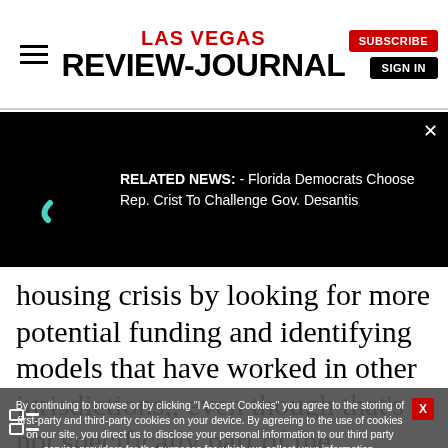[Figure (logo): Las Vegas Review-Journal newspaper website header with logo, hamburger menu, Subscribe button, and Sign In button]
[Figure (screenshot): Related news banner on black background: 'RELATED NEWS: - Florida Democrats Choose Rep. Crist To Challenge Gov. Desantis' with teal loading icon and X close button]
housing crisis by looking for more potential funding and identifying models that have worked in other jurisdictions,, even though that's not specifically part of the lieutenant governor's job.
Eva Chase, 63, is a naturalist at the Shark Reef aquarium at Mandalay Bay and said she running because like there has
By continuing to browse or by clicking "I Accept Cookies" you agree to the storing of first-party and third-party cookies on your device. By agreeing to the use of cookies on our site, you direct us to disclose your personal information to our third party service providers for the purposes for which we collect your information.
I Accept Cookies